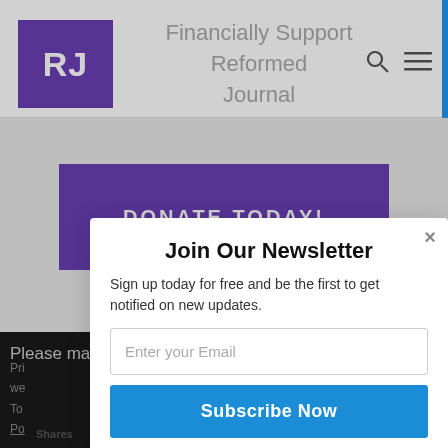[Figure (logo): RJ logo - white letters RJ on purple square background]
Financially Support Reformed Journal
DONATE TODAY!
Please make checks out to Reformed
[Figure (screenshot): Powered by Sumo badge with crown icon]
Join Our Newsletter
Sign up today for free and be the first to get notified on new updates.
Enter your Email
Subscribe Now
Shares